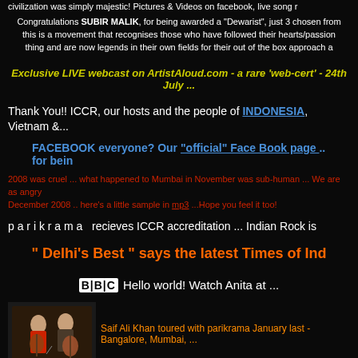civilization was simply majestic! Pictures & Videos on facebook, live song r
Congratulations SUBIR MALIK, for being awarded a "Dewarist", just 3 chosen from this is a movement that recognises those who have followed their hearts/passion thing and are now legends in their own fields for their out of the box approach a
Exclusive LIVE webcast on ArtistAloud.com - a rare 'web-cert' - 24th July ...
Thank You!! ICCR, our hosts and the people of INDONESIA, Vietnam &...
FACEBOOK everyone? Our "official" Face Book page .. for bein
2008 was cruel ... what happened to Mumbai in November was sub-human ... We are as angry December 2008 .. here's a little sample in mp3 ...Hope you feel it too!
p a r i k r a m a  recieves ICCR accreditation ... Indian Rock is
" Delhi's Best " says the latest Times of Ind
BBC Hello world! Watch Anita at ...
[Figure (photo): Photo of two musicians, one in red shirt with guitar]
Saif Ali Khan toured with parikrama January last - Bangalore, Mumbai, ...
Our mind-blowin' trip to England ... 7 gigs in 5 cities and a